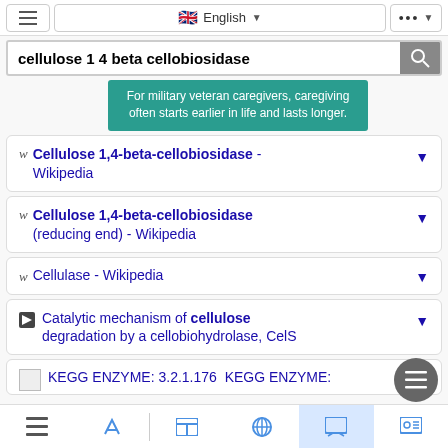= English ... (navigation bar)
cellulose 1 4 beta cellobiosidase
[Figure (screenshot): Teal/green advertisement banner: For military veteran caregivers, caregiving often starts earlier in life and lasts longer.]
w Cellulose 1,4-beta-cellobiosidase - Wikipedia
w Cellulose 1,4-beta-cellobiosidase (reducing end) - Wikipedia
w Cellulase - Wikipedia
Catalytic mechanism of cellulose degradation by a cellobiohydrolase, CelS
KEGG ENZYME: 3.2.1.176 KEGG ENZYME:
bottom navigation bar icons